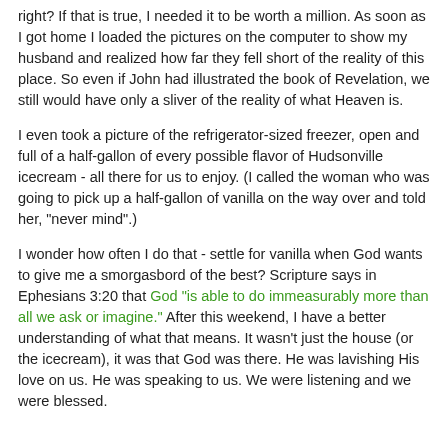right? If that is true, I needed it to be worth a million. As soon as I got home I loaded the pictures on the computer to show my husband and realized how far they fell short of the reality of this place. So even if John had illustrated the book of Revelation, we still would have only a sliver of the reality of what Heaven is.
I even took a picture of the refrigerator-sized freezer, open and full of a half-gallon of every possible flavor of Hudsonville icecream - all there for us to enjoy. (I called the woman who was going to pick up a half-gallon of vanilla on the way over and told her, "never mind".)
I wonder how often I do that - settle for vanilla when God wants to give me a smorgasbord of the best? Scripture says in Ephesians 3:20 that God "is able to do immeasurably more than all we ask or imagine." After this weekend, I have a better understanding of what that means. It wasn't just the house (or the icecream), it was that God was there. He was lavishing His love on us. He was speaking to us. We were listening and we were blessed.